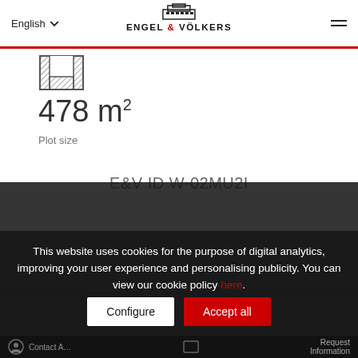English — ENGEL & VÖLKERS
[Figure (illustration): Plot/land size icon — U-shaped floor plan outline with hatching]
478 m²
Plot size
E&V ID W-02MU2I
This website uses cookies for the purpose of digital analytics, improving your user experience and personalising publicity. You can view our cookie policy here.
REQUEST MORE INFORMATION
Configure
Accept all
Contact A...
Request Information